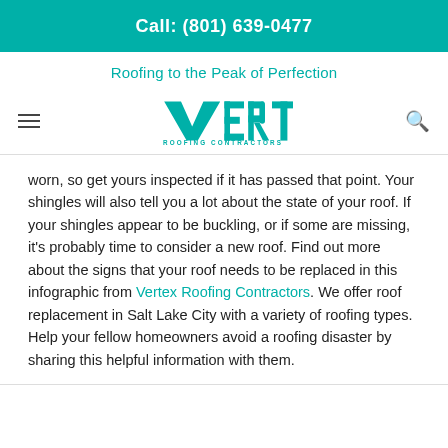Call: (801) 639-0477
Roofing to the Peak of Perfection
[Figure (logo): Vertex Roofing Contractors logo in teal color with stylized V checkmark]
worn, so get yours inspected if it has passed that point. Your shingles will also tell you a lot about the state of your roof. If your shingles appear to be buckling, or if some are missing, it's probably time to consider a new roof. Find out more about the signs that your roof needs to be replaced in this infographic from Vertex Roofing Contractors. We offer roof replacement in Salt Lake City with a variety of roofing types. Help your fellow homeowners avoid a roofing disaster by sharing this helpful information with them.